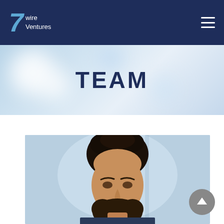[Figure (logo): 7wire Ventures logo — stylized '7' in blue-grey with 'wire Ventures' text in white on dark navy background]
TEAM
[Figure (photo): Headshot of a dark-haired bearded man against a blurred blue-grey background]
[Figure (other): Scroll-to-top button: grey circle with white upward chevron]